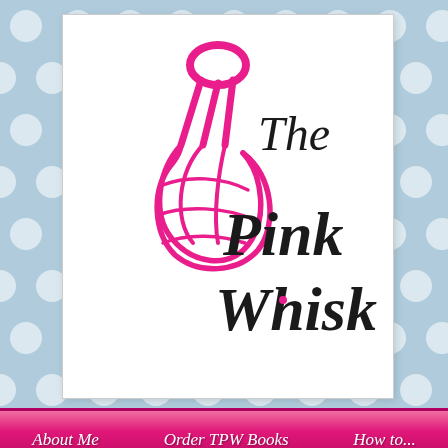[Figure (screenshot): The Pink Whisk blog website screenshot showing a blue polka-dot header with white logo box containing a pink whisk illustration and cursive/script text 'The Pink Whisk', a pink navigation ribbon with About Me, Order TPW Books, How to... links, search bar, Follow Me (Twitter) and Find Me (Facebook) social buttons, Subscribe to The Pink Whisk section, and partial right sidebar showing Day 2 heading and Pinterest icon]
The Pink Whisk
About Me   Order TPW Books   How to...
Search
Follow Me
Find Me
Subscribe to The Pink Whisk
Pink Whisk updates straight to your inbox - Enter your email address here
← Day 1 – Chr
Day 2
Posted on Dec
87